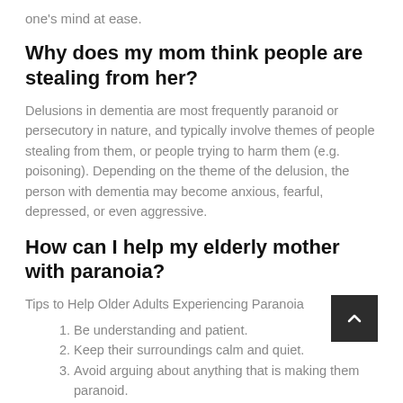one's mind at ease.
Why does my mom think people are stealing from her?
Delusions in dementia are most frequently paranoid or persecutory in nature, and typically involve themes of people stealing from them, or people trying to harm them (e.g. poisoning). Depending on the theme of the delusion, the person with dementia may become anxious, fearful, depressed, or even aggressive.
How can I help my elderly mother with paranoia?
Tips to Help Older Adults Experiencing Paranoia
Be understanding and patient.
Keep their surroundings calm and quiet.
Avoid arguing about anything that is making them paranoid.